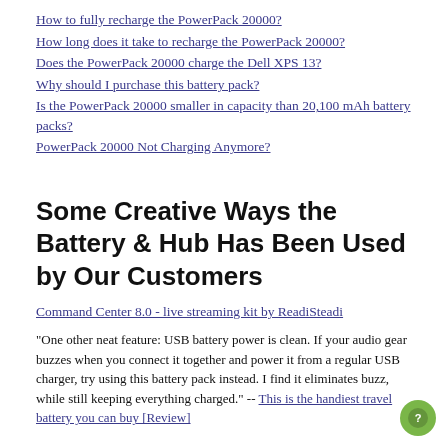How to fully recharge the PowerPack 20000?
How long does it take to recharge the PowerPack 20000?
Does the PowerPack 20000 charge the Dell XPS 13?
Why should I purchase this battery pack?
Is the PowerPack 20000 smaller in capacity than 20,100 mAh battery packs?
PowerPack 20000 Not Charging Anymore?
Some Creative Ways the Battery & Hub Has Been Used by Our Customers
Command Center 8.0 - live streaming kit by ReadiSteadi
"One other neat feature: USB battery power is clean. If your audio gear buzzes when you connect it together and power it from a regular USB charger, try using this battery pack instead. I find it eliminates buzz, while still keeping everything charged." -- This is the handiest travel battery you can buy [Review]